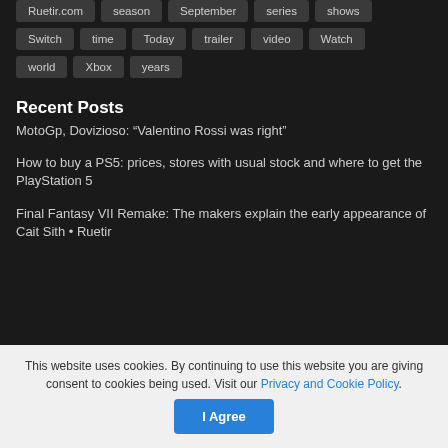Ruetir.com  season  September  series  shows
Switch  time  Today  trailer  video  Watch
world  Xbox  years
Recent Posts
MotoGp, Dovizioso: “Valentino Rossi was right”
How to buy a PS5: prices, stores with usual stock and where to get the PlayStation 5
Final Fantasy VII Remake: The makers explain the early appearance of Cait Sith • Ruetir
This website uses cookies. By continuing to use this website you are giving consent to cookies being used. Visit our Privacy and Cookie Policy.